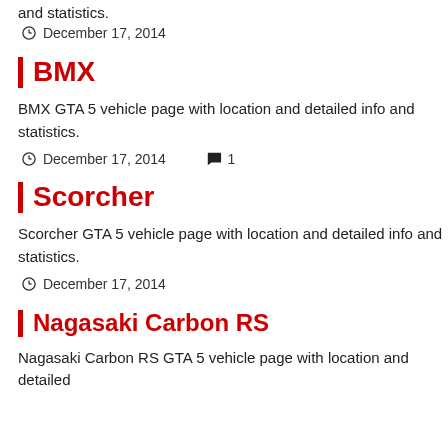and statistics.
December 17, 2014
BMX
BMX GTA 5 vehicle page with location and detailed info and statistics.
December 17, 2014   1
Scorcher
Scorcher GTA 5 vehicle page with location and detailed info and statistics.
December 17, 2014
Nagasaki Carbon RS
Nagasaki Carbon RS GTA 5 vehicle page with location and detailed